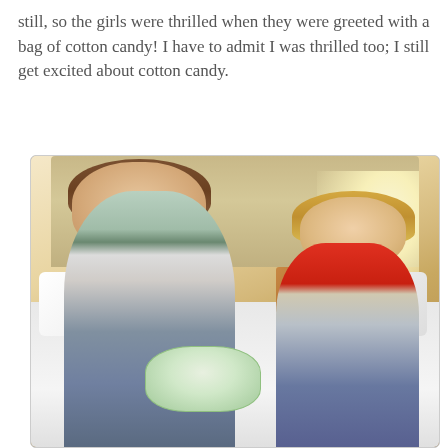still, so the girls were thrilled when they were greeted with a bag of cotton candy! I have to admit I was thrilled too; I still get excited about cotton candy.
[Figure (photo): Two smiling girls sitting on a hotel bed holding a bag of cotton candy. The older girl on the left has brown shoulder-length hair and wears a light teal t-shirt with emoji/heart graphics. The younger girl on the right has long blonde hair and wears a red t-shirt. They are sitting cross-legged on white bedding with a wood headboard visible behind them.]